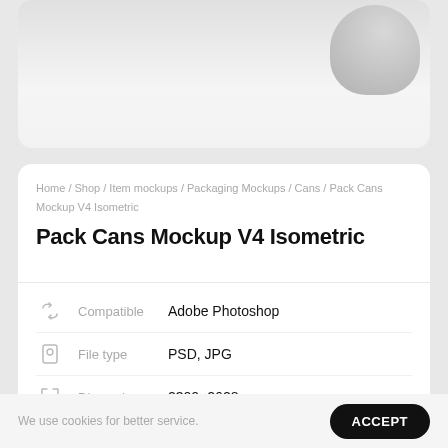[Figure (photo): Top card showing partial image of pack cans mockup with grey background]
Home / Shop / Item mockups / Packaging Mockups / Cans / Pack Cans Mockup V4 Isometric
Pack Cans Mockup V4 Isometric
| Icon | Label | Value |
| --- | --- | --- |
| [icon] | Compatible | Adobe Photoshop |
| [icon] | File type | PSD, JPG |
| [icon] | Dimension | 2300×2628 |
| [icon] | Objects | All isolated |
| [icon] | Texture | Change texture |
| [icon] | Size | 257,7 Mb |
We use cookies for better service.
ACCEPT